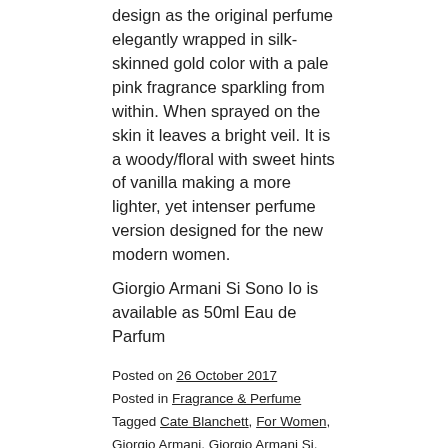Si Sono Io Giorgio Armani comes in the same bottle design as the original perfume elegantly wrapped in silk-skinned gold color with a pale pink fragrance sparkling from within. When sprayed on the skin it leaves a bright veil. It is a woody/floral with sweet hints of vanilla making a more lighter, yet intenser perfume version designed for the new modern women.
Giorgio Armani Si Sono Io is available as 50ml Eau de Parfum
Posted on 26 October 2017
Posted in Fragrance & Perfume
Tagged Cate Blanchett, For Women, Giorgio Armani, Giorgio Armani Si, Giorgio Armani Si Sono Io, Matthew Frost, Pour Femme Leave a comment
GIORGIO ARMANI'S 'SI ROSE SIGNATURE' DRESSED IN A NEW COUTURE DESIGN